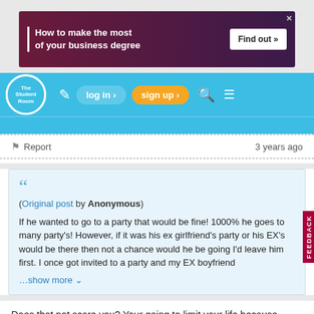[Figure (screenshot): Advertisement banner: 'How to make the most of your business degree' with 'Find out »' button on dark purple/maroon background]
[Figure (screenshot): The Student Room website navigation bar with logo, edit icon, log in, sign up, search, and menu buttons on blue background]
Report   3 years ago
(Original post by Anonymous)
If he wanted to go to a party that would be fine! 1000% he goes to many party's! However, if it was his ex girlfriend's party or his EX's would be there then not a chance would he be going I'd leave him first. I once got invited to a party and my EX boyfriend
…show more
Does that not scare you? Your going to limit your life because someone else says so, and the same for him if he stays with you.
My daughter is 2 at the moment, if i know someone in the future was